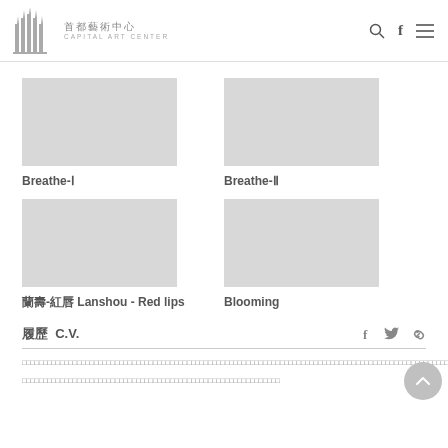[Figure (logo): Capital Art Center logo with stylized building spires, Chinese text 首都藝術中心 and English text CAPITAL ART CENTER]
Breathe-Ⅰ
Breathe-Ⅱ
蘭壽-紅唇 Lanshou - Red lips
Blooming
履歷 C.V.
Bio paragraph 1 (Chinese characters)
Bio paragraph 2 (Chinese characters)